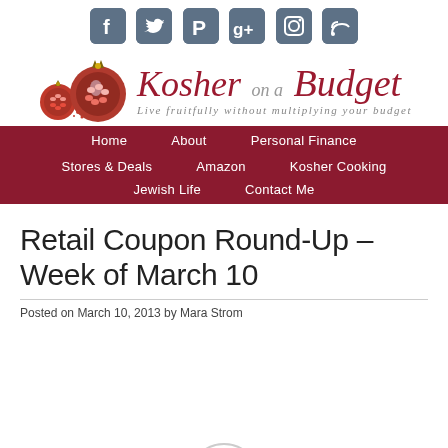[Figure (logo): Social media icons row: Facebook, Twitter, Pinterest, Google+, Instagram, RSS — grey rounded square icons]
[Figure (logo): Kosher on a Budget logo with pomegranate illustrations, script text 'Kosher on a Budget', tagline 'Live fruitfully without multiplying your budget']
[Figure (infographic): Dark red navigation bar with menu items: Home, About, Personal Finance, Stores & Deals, Amazon, Kosher Cooking, Jewish Life, Contact Me]
Retail Coupon Round-Up – Week of March 10
Posted on March 10, 2013 by Mara Strom